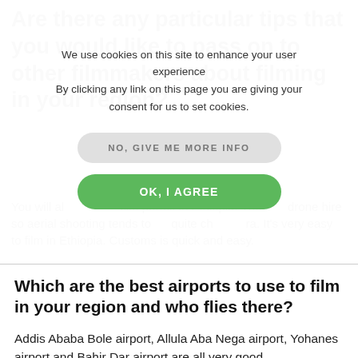Are there any particular tips that you would like to pass on to other filmmakers about filming in your region?
You will also need a film permit in Ethiopia. There is also a drone hire so aerial shooting tends to be quite cheap in Ethiopia. It's very easy to film in Ethiopia. Customs is quick and easy.
We use cookies on this site to enhance your user experience
By clicking any link on this page you are giving your consent for us to set cookies.
NO, GIVE ME MORE INFO
OK, I AGREE
Which are the best airports to use to film in your region and who flies there?
Addis Ababa Bole airport, Allula Aba Nega airport, Yohanes airport and Bahir Dar airport are all very good.